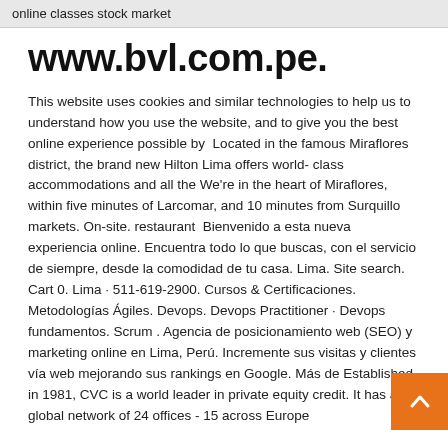online classes stock market
www.bvl.com.pe.
This website uses cookies and similar technologies to help us to understand how you use the website, and to give you the best online experience possible by  Located in the famous Miraflores district, the brand new Hilton Lima offers world- class accommodations and all the We're in the heart of Miraflores, within five minutes of Larcomar, and 10 minutes from Surquillo markets. On-site. restaurant  Bienvenido a esta nueva experiencia online. Encuentra todo lo que buscas, con el servicio de siempre, desde la comodidad de tu casa. Lima. Site search. Cart 0. Lima · 511-619-2900. Cursos & Certificaciones. Metodologías Ágiles. Devops. Devops Practitioner · Devops fundamentos. Scrum . Agencia de posicionamiento web (SEO) y marketing online en Lima, Perú. Incremente sus visitas y clientes vía web mejorando sus rankings en Google. Más de Established in 1981, CVC is a world leader in private equity credit. It has a global network of 24 offices - 15 across Europe